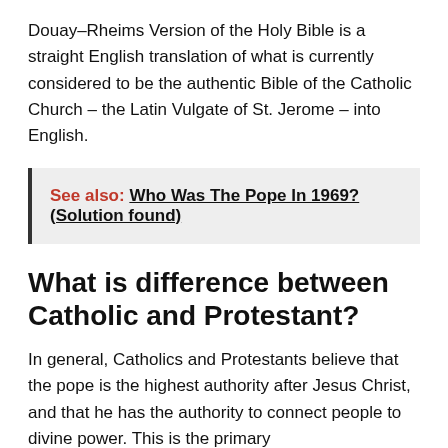Douay–Rheims Version of the Holy Bible is a straight English translation of what is currently considered to be the authentic Bible of the Catholic Church – the Latin Vulgate of St. Jerome – into English.
See also: Who Was The Pope In 1969? (Solution found)
What is difference between Catholic and Protestant?
In general, Catholics and Protestants believe that the pope is the highest authority after Jesus Christ, and that he has the authority to connect people to divine power. This is the primary